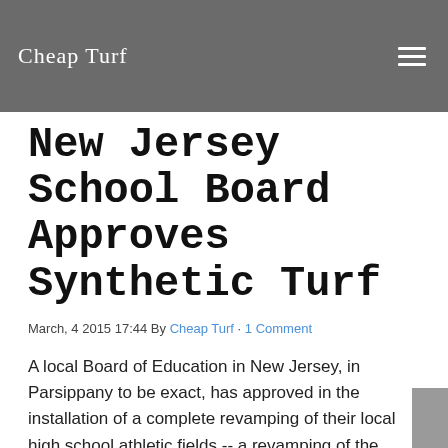Cheap Turf
New Jersey School Board Approves Synthetic Turf
March, 4 2015 17:44 By Cheap Turf · 1 Comment
A local Board of Education in New Jersey, in Parsippany to be exact, has approved in the installation of a complete revamping of their local high school athletic fields -- a revamping of the natural grass fields to synthetic turf. The synthetic turf will be installed on the fields during the summer, just in time for the start of the football season and homecoming. Just another instance